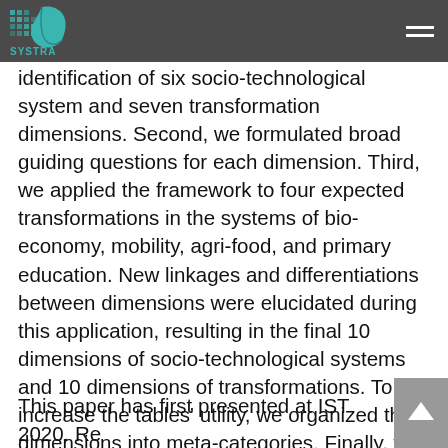[Figure (logo): SYSTRA logo with teal leaf and pixel grid motif on dark grey navbar]
identification of six socio-technological system and seven transformation dimensions. Second, we formulated broad guiding questions for each dimension. Third, we applied the framework to four expected transformations in the systems of bio-economy, mobility, agri-food, and primary education. New linkages and differentiations between dimensions were elucidated during this application, resulting in the final 10 dimensions of socio-technological systems and 10 dimensions of transformations. To increase the tables' utility, we organized the dimensions into meta-categories. Finally, we refined the guiding questions for each dimension.
This paper has first presented at IST 2020. Re